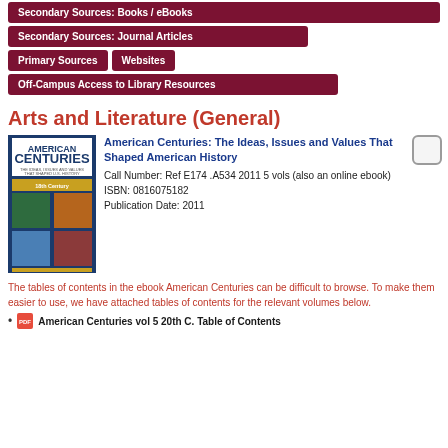Secondary Sources: Books / eBooks
Secondary Sources: Journal Articles
Primary Sources
Websites
Off-Campus Access to Library Resources
Arts and Literature (General)
[Figure (photo): Book cover of American Centuries: The Ideas, Issues and Values That Shaped American History]
American Centuries: The Ideas, Issues and Values That Shaped American History
Call Number: Ref E174 .A534 2011 5 vols (also an online ebook)
ISBN: 0816075182
Publication Date: 2011
The tables of contents in the ebook American Centuries can be difficult to browse. To make them easier to use, we have attached tables of contents for the relevant volumes below.
American Centuries vol 5 20th C. Table of Contents